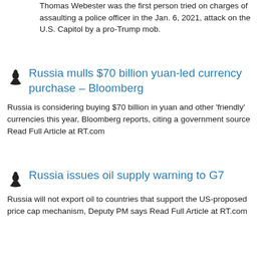Thomas Webester was the first person tried on charges of assaulting a police officer in the Jan. 6, 2021, attack on the U.S. Capitol by a pro-Trump mob.
Russia mulls $70 billion yuan-led currency purchase – Bloomberg
Russia is considering buying $70 billion in yuan and other 'friendly' currencies this year, Bloomberg reports, citing a government source Read Full Article at RT.com
Russia issues oil supply warning to G7
Russia will not export oil to countries that support the US-proposed price cap mechanism, Deputy PM says Read Full Article at RT.com